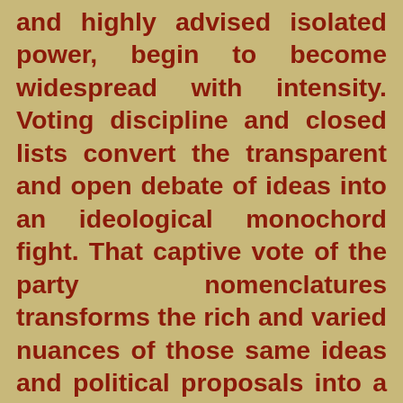and highly advised isolated power, begin to become widespread with intensity. Voting discipline and closed lists convert the transparent and open debate of ideas into an ideological monochord fight. That captive vote of the party nomenclatures transforms the rich and varied nuances of those same ideas and political proposals into a fronton court with obsolete, unidirectional and absurd rallying between the Left and Right. The debates of ideas in Parliament become ideological fights where